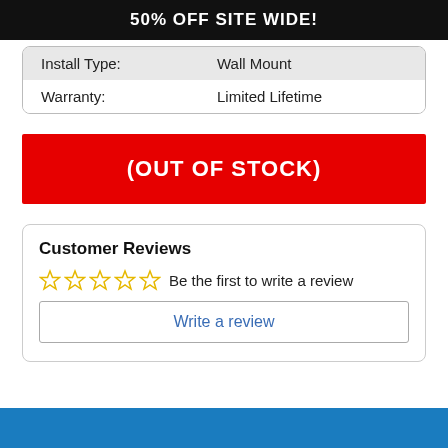50% OFF SITE WIDE!
| Install Type: | Wall Mount |
| Warranty: | Limited Lifetime |
(OUT OF STOCK)
Customer Reviews
Be the first to write a review
Write a review